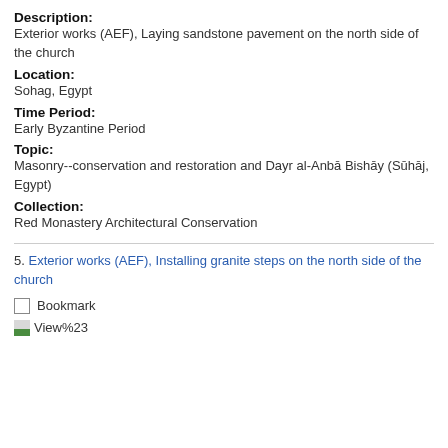Description:
Exterior works (AEF), Laying sandstone pavement on the north side of the church
Location:
Sohag, Egypt
Time Period:
Early Byzantine Period
Topic:
Masonry--conservation and restoration and Dayr al-Anbā Bishāy (Sūhāj, Egypt)
Collection:
Red Monastery Architectural Conservation
5. Exterior works (AEF), Installing granite steps on the north side of the church
Bookmark
View%23